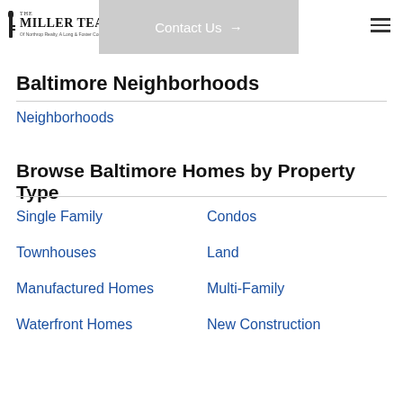The Miller Team — Contact Us →
Baltimore Neighborhoods
Neighborhoods
Browse Baltimore Homes by Property Type
Single Family
Condos
Townhouses
Land
Manufactured Homes
Multi-Family
Waterfront Homes
New Construction